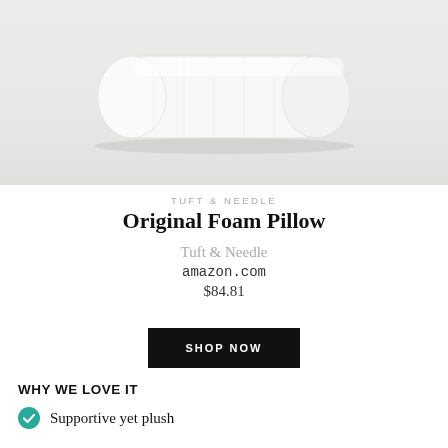[Figure (photo): A white cylindrical foam pillow on a light grey/white surface, rolled up neatly with a white textured cover.]
TUFT & NEEDLE
Original Foam Pillow
Tuft & Needle
amazon.com
$84.81
SHOP NOW
WHY WE LOVE IT
Supportive yet plush